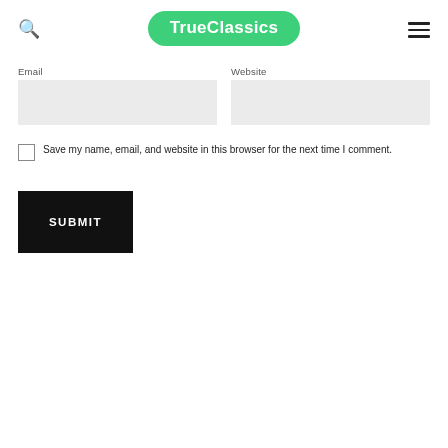TrueClassics
Email
Website
Save my name, email, and website in this browser for the next time I comment.
SUBMIT